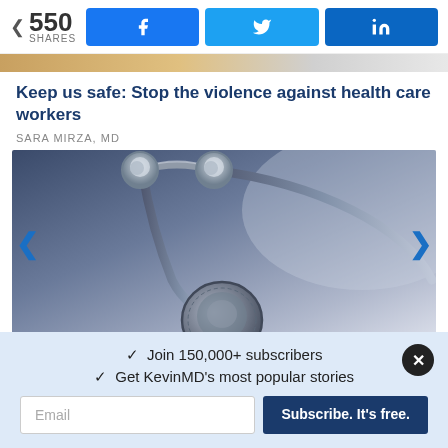550 SHARES
[Figure (screenshot): Social share buttons: Facebook (f), Twitter (bird), LinkedIn (in)]
[Figure (photo): Partial top of article image — warm tones, person visible at top]
Keep us safe: Stop the violence against health care workers
SARA MIRZA, MD
[Figure (photo): Close-up photograph of a stethoscope with metallic earpieces and tubing on a bluish-gray background]
✓  Join 150,000+ subscribers
✓  Get KevinMD's most popular stories
Email
Subscribe. It's free.